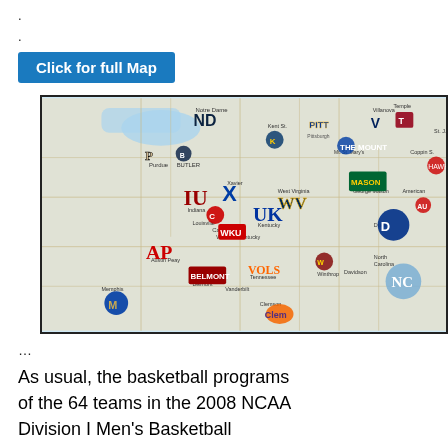.
.
.
Click for full Map
[Figure (map): Map of southeastern and midwestern United States showing logos and names of 64 teams in the 2008 NCAA Division I Men's Basketball Tournament, including Notre Dame, Purdue, Butler, Pitt, Villanova, Temple, Indiana, Louisville, Xavier, West Virginia, Kentucky, George Mason, Duke, North Carolina, Memphis, Vanderbilt, Tennessee, Belmont, Clemson, Winthrop, and many others.]
...
As usual, the basketball programs of the 64 teams in the 2008 NCAA Division I Men’s Basketball Tournament have a wide variation